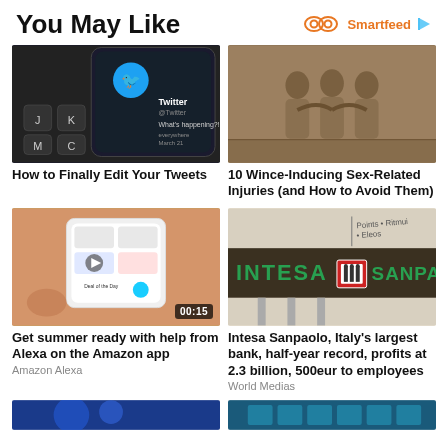You May Like
[Figure (logo): Smartfeed logo with orange infinity/eye icon and play button arrow]
[Figure (photo): Smartphone on keyboard showing Twitter app]
How to Finally Edit Your Tweets
[Figure (photo): Stone carvings of figures in intimate poses]
10 Wince-Inducing Sex-Related Injuries (and How to Avoid Them)
[Figure (photo): Hand holding phone showing Amazon shopping app with video badge 00:15]
Get summer ready with help from Alexa on the Amazon app
Amazon Alexa
[Figure (photo): Intesa Sanpaolo bank sign exterior]
Intesa Sanpaolo, Italy's largest bank, half-year record, profits at 2.3 billion, 500eur to employees
World Medias
[Figure (photo): Bottom strip partial image left - blue tones]
[Figure (photo): Bottom strip partial image right - blue/teal tones]